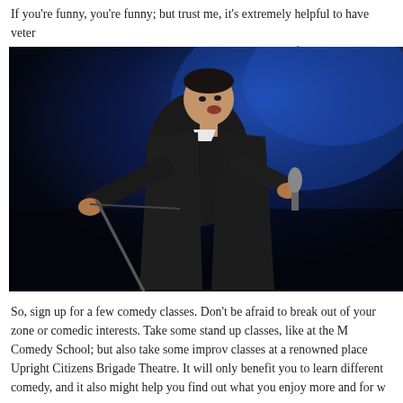If you're funny, you're funny; but trust me, it's extremely helpful to have veteran comedians guide you and teach you how to harness your funny bone.
[Figure (photo): A male stand-up comedian performing on a dark stage with blue lighting, wearing a black suit, holding a microphone stand to the left and a microphone to the right.]
So, sign up for a few comedy classes. Don't be afraid to break out of your zone or comedic interests. Take some stand up classes, like at the M Comedy School; but also take some improv classes at a renowned place Upright Citizens Brigade Theatre. It will only benefit you to learn different comedy, and it also might help you find out what you enjoy more and for w